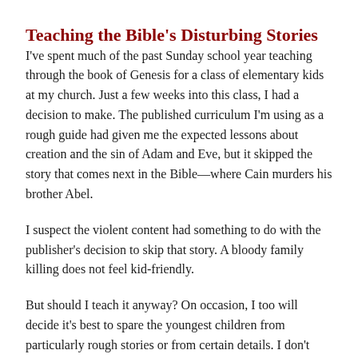Teaching the Bible's Disturbing Stories
I've spent much of the past Sunday school year teaching through the book of Genesis for a class of elementary kids at my church. Just a few weeks into this class, I had a decision to make. The published curriculum I'm using as a rough guide had given me the expected lessons about creation and the sin of Adam and Eve, but it skipped the story that comes next in the Bible—where Cain murders his brother Abel.
I suspect the violent content had something to do with the publisher's decision to skip that story. A bloody family killing does not feel kid-friendly.
But should I teach it anyway? On occasion, I too will decide it's best to spare the youngest children from particularly rough stories or from certain details. I don't enjoy shocking kids or telling them horrific tales. But…